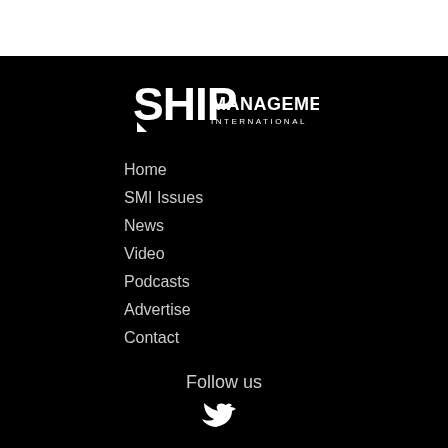[Figure (logo): Ship Management International logo — large bold SHIP text with MANAGEMENT INTERNATIONAL below]
Home
SMI Issues
News
Video
Podcasts
Advertise
Contact
Follow us
[Figure (illustration): Social media icons (Twitter/X bird)]